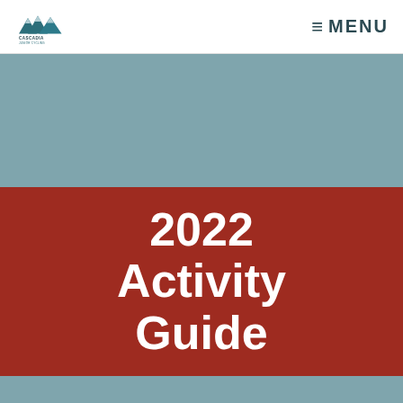Cascadia Junior Cycling — MENU
2022 Activity Guide